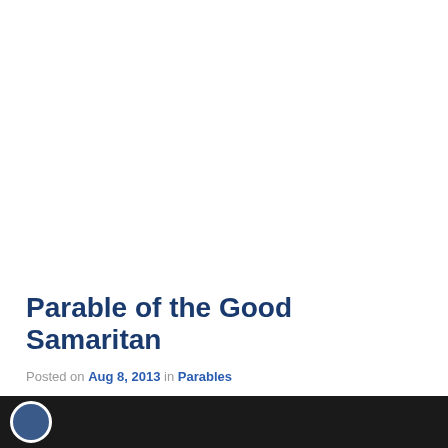Parable of the Good Samaritan
Posted on Aug 8, 2013 in Parables
[Figure (photo): Dark video/image thumbnail strip at the bottom of the page with a circular profile icon]